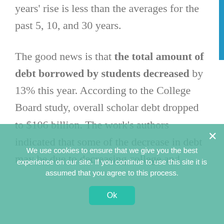years' rise is less than the averages for the past 5, 10, and 30 years.
The good news is that the total amount of debt borrowed by students decreased by 13% this year. According to the College Board study, overall scholar debt dropped to $106 billion. The work's authors indicated that some of the decrease in debt may be due to decreasing college and
We use cookies to ensure that we give you the best experience on our site. If you continue to use this site it is assumed that you agree to this process.